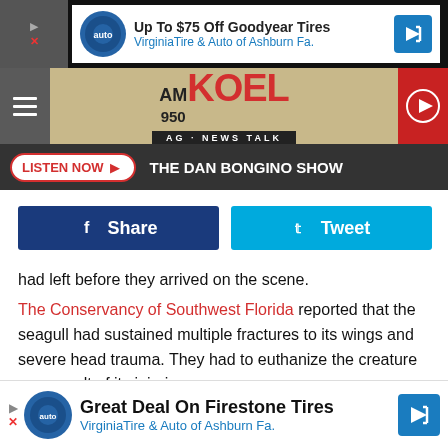[Figure (screenshot): Advertisement banner: Up To $75 Off Goodyear Tires - Virginia Tire & Auto of Ashburn Fa.]
AM 950 KOEL AG - NEWS TALK
LISTEN NOW ▶  THE DAN BONGINO SHOW
[Figure (infographic): Social share buttons: Facebook Share and Twitter Tweet]
had left before they arrived on the scene.
The Conservancy of Southwest Florida reported that the seagull had sustained multiple fractures to its wings and severe head trauma. They had to euthanize the creature as a result of its injuries.
They also posted images of this on their social media accour
[Figure (screenshot): Advertisement banner: Great Deal On Firestone Tires - Virginia Tire & Auto of Ashburn Fa.]